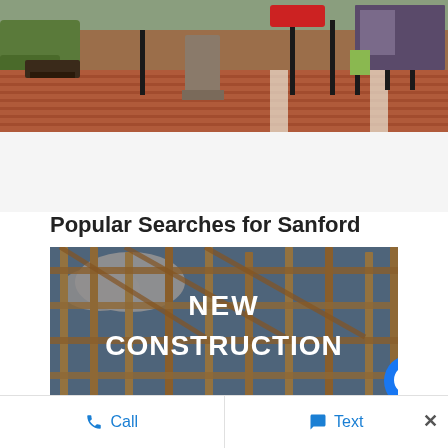[Figure (photo): Outdoor brick plaza with benches, decorative bollards, and storefronts in background — town square scene.]
Popular Searches for Sanford
[Figure (photo): New construction building frame with wooden studs against blue sky, with text overlay reading NEW CONSTRUCTION.]
Call
Text